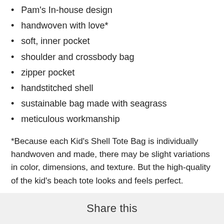Pam's In-house design
handwoven with love*
soft, inner pocket
shoulder and crossbody bag
zipper pocket
handstitched shell
sustainable bag made with seagrass
meticulous workmanship
*Because each Kid's Shell Tote Bag is individually handwoven and made, there may be slight variations in color, dimensions, and texture. But the high-quality of the kid's beach tote looks and feels perfect.
Share this